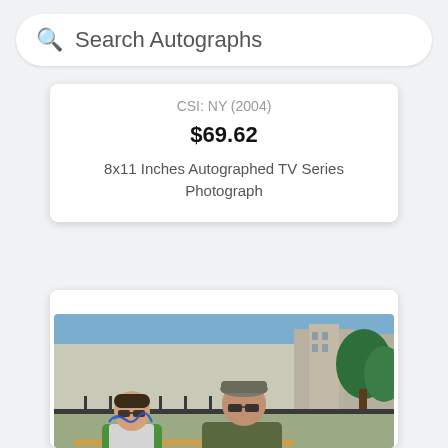Search Autographs
CSI: NY (2004)
$69.62
8x11 Inches Autographed TV Series Photograph
[Figure (photo): Two people sitting on a park bench outdoors — a younger person in a green and grey shirt on the left with sunglasses and a blue autograph signature, and an older man on the right wearing sunglasses, a grey cap, and olive/khaki clothing holding a white cane. Urban background with trees and buildings.]